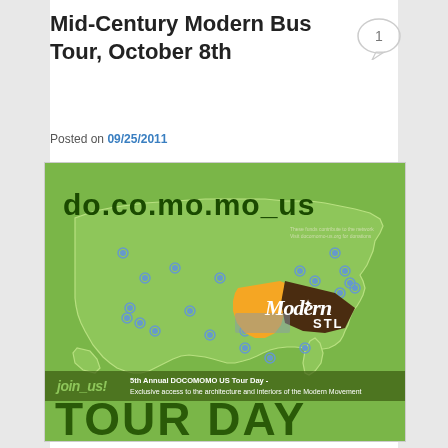Mid-Century Modern Bus Tour, October 8th
Posted on 09/25/2011
[Figure (illustration): DOCOMOMO US Tour Day poster featuring a green map of the United States with location markers, the Modern STL logo in Missouri, and text reading 'do.co.mo.mo_US', 'join_us!', '5th Annual DOCOMOMO US Tour Day - Exclusive access to the architecture and interiors of the Modern Movement', and 'TOUR DAY']